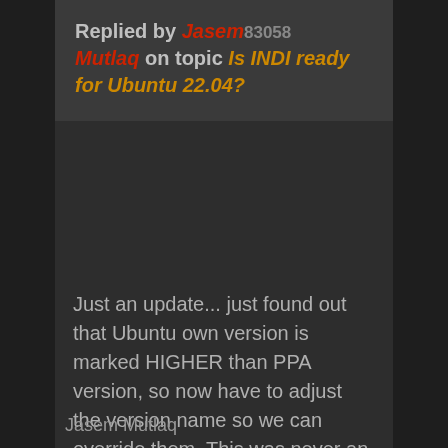Replied by Jasem Mutlaq on topic Is INDI ready for Ubuntu 22.04?
Just an update... just found out that Ubuntu own version is marked HIGHER than PPA version, so now have to adjust the version name so we can override them. This was never an issue before they decided to build 3rd party drivers.
Jasem Mutlaq